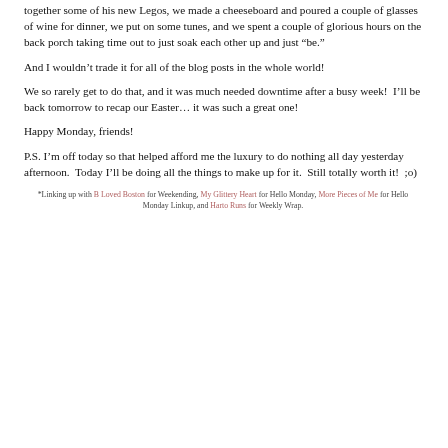together some of his new Legos, we made a cheeseboard and poured a couple of glasses of wine for dinner, we put on some tunes, and we spent a couple of glorious hours on the back porch taking time out to just soak each other up and just “be.”
And I wouldn’t trade it for all of the blog posts in the whole world!
We so rarely get to do that, and it was much needed downtime after a busy week!  I’ll be back tomorrow to recap our Easter… it was such a great one!
Happy Monday, friends!
P.S. I’m off today so that helped afford me the luxury to do nothing all day yesterday afternoon.  Today I’ll be doing all the things to make up for it.  Still totally worth it!  ;o)
*Linking up with B Loved Boston for Weekending, My Glittery Heart for Hello Monday, More Pieces of Me for Hello Monday Linkup, and Harto Runs for Weekly Wrap.